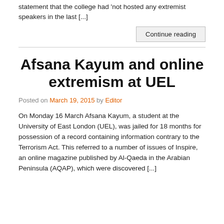statement that the college had 'not hosted any extremist speakers in the last [...]
Continue reading
Afsana Kayum and online extremism at UEL
Posted on March 19, 2015 by Editor
On Monday 16 March Afsana Kayum, a student at the University of East London (UEL), was jailed for 18 months for possession of a record containing information contrary to the Terrorism Act. This referred to a number of issues of Inspire, an online magazine published by Al-Qaeda in the Arabian Peninsula (AQAP), which were discovered [...]